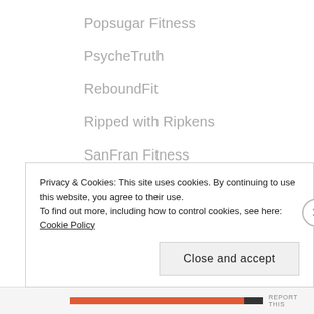Popsugar Fitness
PsycheTruth
ReboundFit
Ripped with Ripkens
SanFran Fitness
SaraBethYoga
Stylecraze Fitness
Up to the BEat Fit
Yoga Ranger
Privacy & Cookies: This site uses cookies. By continuing to use this website, you agree to their use. To find out more, including how to control cookies, see here: Cookie Policy
Close and accept